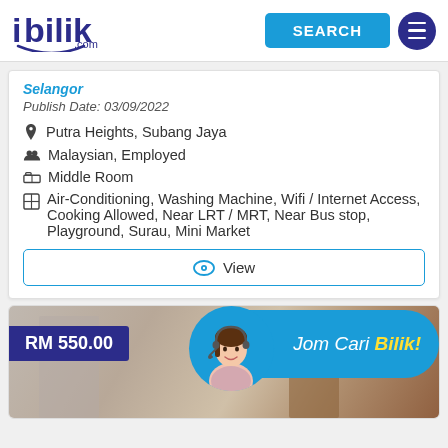[Figure (logo): ibilik.com logo with blue text and smile curve]
[Figure (screenshot): SEARCH button in blue and hamburger menu button in dark blue circle]
Selangor
Publish Date: 03/09/2022
Putra Heights, Subang Jaya
Malaysian, Employed
Middle Room
Air-Conditioning, Washing Machine, Wifi / Internet Access, Cooking Allowed, Near LRT / MRT, Near Bus stop, Playground, Surau, Mini Market
[Figure (screenshot): View button with eye icon and border]
[Figure (photo): Room interior photo with RM 550.00 price tag and Jom Cari Bilik banner with woman wearing headset]